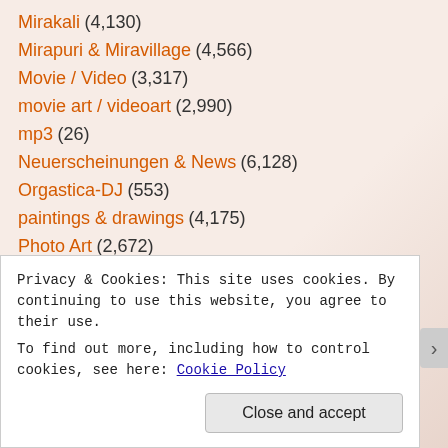Mirakali (4,130)
Mirapuri & Miravillage (4,566)
Movie / Video (3,317)
movie art / videoart (2,990)
mp3 (26)
Neuerscheinungen & News (6,128)
Orgastica-DJ (553)
paintings & drawings (4,175)
Photo Art (2,672)
Photos / Fotos (3,370)
Posts (8,854)
Privacy & Cookies: This site uses cookies. By continuing to use this website, you agree to their use. To find out more, including how to control cookies, see here: Cookie Policy
Close and accept